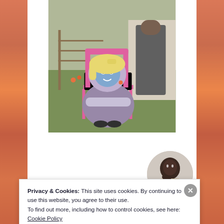[Figure (photo): Circular cropped outdoor photograph showing a person sitting in a pink camping chair wearing a costume with a blue cartoon animal mask and blonde wig, dressed in a purple/grey outfit with arms crossed. Another person stands behind them in dark clothing. Background shows a chain-link fence, green grass, and flowers.]
[Figure (photo): Small circular cropped photo showing a dark-skinned man with his hand near his chin in a thoughtful pose, wearing a light-colored top.]
Apply
Privacy & Cookies: This site uses cookies. By continuing to use this website, you agree to their use.
To find out more, including how to control cookies, see here: Cookie Policy
Close and accept